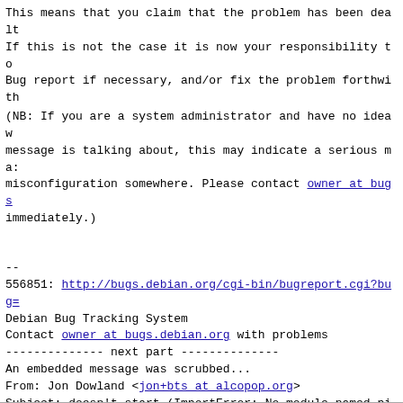This means that you claim that the problem has been dealt
If this is not the case it is now your responsibility to
Bug report if necessary, and/or fix the problem forthwith
(NB: If you are a system administrator and have no idea w
message is talking about, this may indicate a serious ma:
misconfiguration somewhere. Please contact owner at bugs
immediately.)
--
556851: http://bugs.debian.org/cgi-bin/bugreport.cgi?bug=
Debian Bug Tracking System
Contact owner at bugs.debian.org with problems
-------------- next part --------------
An embedded message was scrubbed...
From: Jon Dowland <jon+bts at alcopop.org>
Subject: doesn't start (ImportError: No module named pit:
Date: Tue, 17 Nov 2009 20:52:56 +0000
Size: 4860
URL: <http://lists.alioth.debian.org/pipermail/pkg-gstre
-------------- next part --------------
An embedded message was scrubbed...
From: =?utf-8?q?Sebastian_Dr=C3=B6ge?= <slomo at debian.o
Subject: Bug#556851: fixed in pitivi 0.13.4-2
Date: Mon, 15 Mar 2010 11:05:25 +0000
Size: 4386
URL: <http://lists.alioth.debian.org/pipermail/pkg-gstre